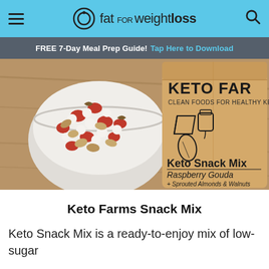fat for weightloss
FREE 7-Day Meal Prep Guide! Tap Here to Download
[Figure (photo): Bowl of keto snack mix with nuts, seeds, and dried cranberries next to a Keto Farms branded bag labeled 'Keto Snack Mix Raspberry Gouda + Sprouted Almonds & Walnuts']
Keto Farms Snack Mix
Keto Snack Mix is a ready-to-enjoy mix of low-sugar